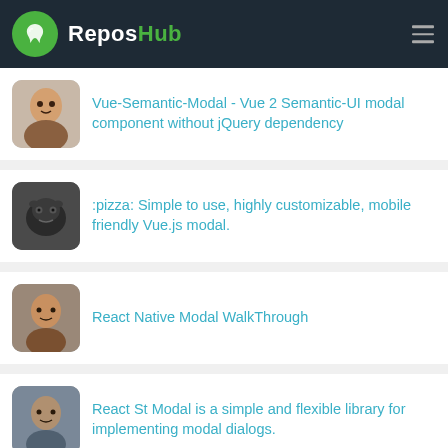ReposHub
Vue-Semantic-Modal - Vue 2 Semantic-UI modal component without jQuery dependency
:pizza: Simple to use, highly customizable, mobile friendly Vue.js modal.
React Native Modal WalkThrough
React St Modal is a simple and flexible library for implementing modal dialogs.
Vue modal component for Semantic-Ui no jquery